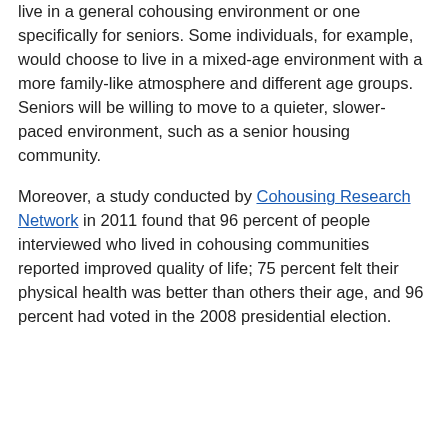live in a general cohousing environment or one specifically for seniors. Some individuals, for example, would choose to live in a mixed-age environment with a more family-like atmosphere and different age groups. Seniors will be willing to move to a quieter, slower-paced environment, such as a senior housing community.
Moreover, a study conducted by Cohousing Research Network in 2011 found that 96 percent of people interviewed who lived in cohousing communities reported improved quality of life; 75 percent felt their physical health was better than others their age, and 96 percent had voted in the 2008 presidential election.